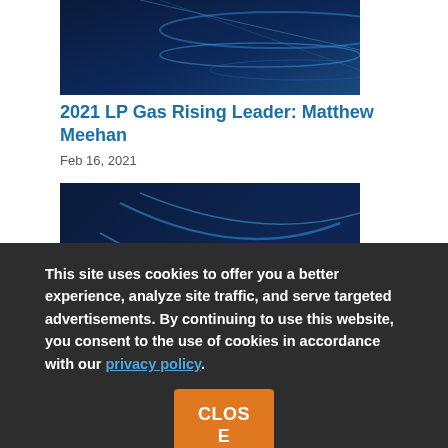[Figure (photo): Partial dark blue abstract background image, cropped at top]
2021 LP Gas Rising Leader: Matthew Meehan
Feb 16, 2021
[Figure (photo): LP Gas magazine cover image with dark blue abstract background and white LPGas logo text]
This site uses cookies to offer you a better experience, analyze site traffic, and serve targeted advertisements. By continuing to use this website, you consent to the use of cookies in accordance with our privacy policy.
CLOSE